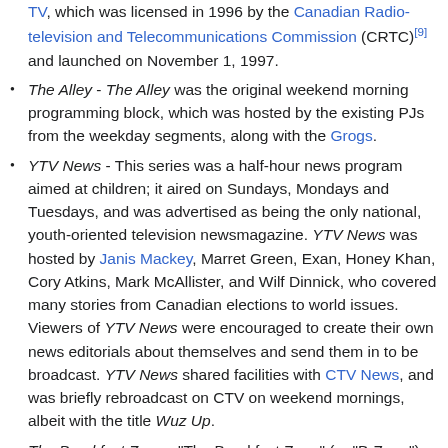TV, which was licensed in 1996 by the Canadian Radio-television and Telecommunications Commission (CRTC)[9] and launched on November 1, 1997.
The Alley - The Alley was the original weekend morning programming block, which was hosted by the existing PJs from the weekday segments, along with the Grogs.
YTV News - This series was a half-hour news program aimed at children; it aired on Sundays, Mondays and Tuesdays, and was advertised as being the only national, youth-oriented television newsmagazine. YTV News was hosted by Janis Mackey, Marret Green, Exan, Honey Khan, Cory Atkins, Mark McAllister, and Wilf Dinnick, who covered many stories from Canadian elections to world issues. Viewers of YTV News were encouraged to create their own news editorials about themselves and send them in to be broadcast. YTV News shared facilities with CTV News, and was briefly rebroadcast on CTV on weekend mornings, albeit with the title Wuz Up.
The Breakfast Zone - "The Breakfast Zone" (or "B-Zone") aired in a morning time slot. Originally hosted by Jenn Beech and Paul McGuire, with Aashna Patel soon replacing Beech, the